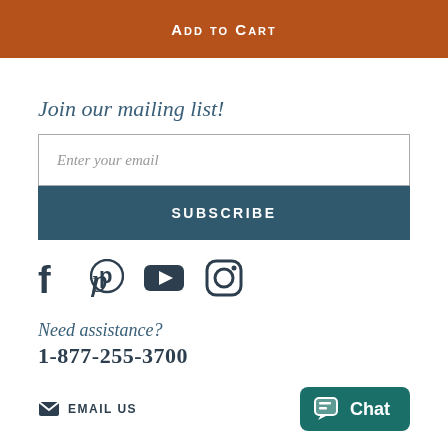ADD TO CART
Join our mailing list!
Enter your email
SUBSCRIBE
[Figure (other): Social media icons: Facebook, Pinterest, YouTube, Instagram]
Need assistance?
1-877-255-3700
EMAIL US
Chat